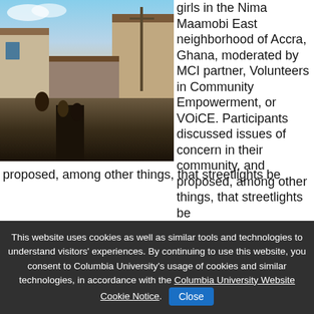[Figure (photo): Photograph of a narrow alley in a dense urban neighborhood, showing people working or gathered along a dirt path between buildings with corrugated metal roofs, with blue sky visible in the background. Likely Accra, Ghana.]
girls in the Nima Maamobi East neighborhood of Accra, Ghana, moderated by MCI partner, Volunteers in Community Empowerment, or VOiCE. Participants discussed issues of concern in their community, and proposed, among other things, that streetlights be
This website uses cookies as well as similar tools and technologies to understand visitors' experiences. By continuing to use this website, you consent to Columbia University's usage of cookies and similar technologies, in accordance with the Columbia University Website Cookie Notice.